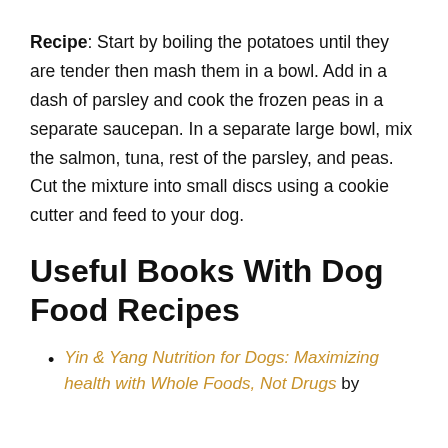Recipe: Start by boiling the potatoes until they are tender then mash them in a bowl. Add in a dash of parsley and cook the frozen peas in a separate saucepan. In a separate large bowl, mix the salmon, tuna, rest of the parsley, and peas. Cut the mixture into small discs using a cookie cutter and feed to your dog.
Useful Books With Dog Food Recipes
Yin & Yang Nutrition for Dogs: Maximizing health with Whole Foods, Not Drugs by